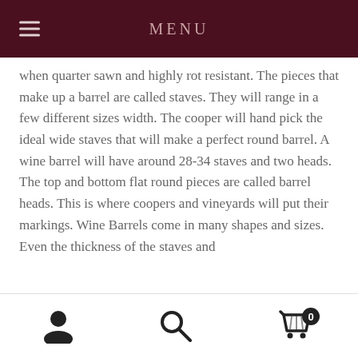MENU
when quarter sawn and highly rot resistant. The pieces that make up a barrel are called staves. They will range in a few different sizes width. The cooper will hand pick the ideal wide staves that will make a perfect round barrel. A wine barrel will have around 28-34 staves and two heads. The top and bottom flat round pieces are called barrel heads. This is where coopers and vineyards will put their markings. Wine Barrels come in many shapes and sizes. Even the thickness of the staves and
[Figure (photo): Photo of a wine barrel structure showing wooden staves and metal bands, viewed from above/inside, with a circular hole visible in the stave]
User icon, Search icon, Cart icon with badge 0